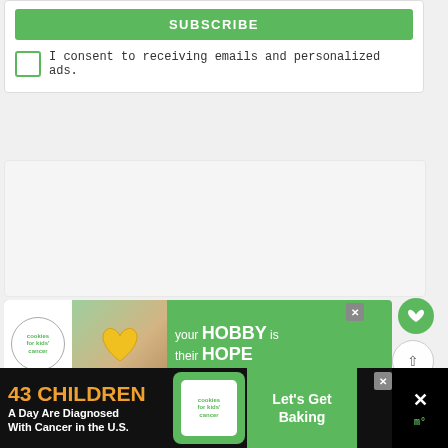SUBSCRIBE
I consent to receiving emails and personalized ads.
[Figure (other): Large empty advertisement placeholder area with light gray background]
[Figure (other): Cookies for Kids Cancer advertisement banner: 'your HOBBY is their HOPE' with green background, cookies logo, and photo of hands holding heart-shaped cookie]
[Figure (other): Floating UI buttons: heart/like button in green, scroll-up arrow button, share button]
[Figure (other): What's Next panel showing thumbnail and text 'Sweatcoin Review: Is...']
[Figure (other): Bottom banner ad: '43 CHILDREN A Day Are Diagnosed With Cancer in the U.S.' with Cookies for Kids Cancer logo and 'Let's Get Baking' text on green background]